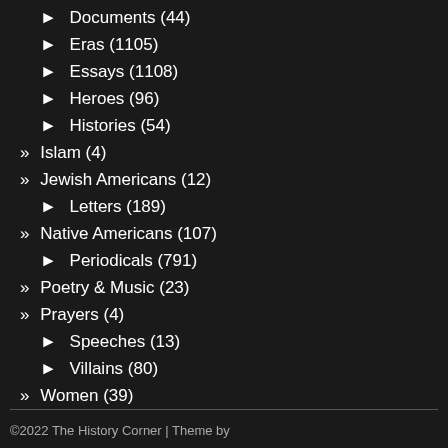► Documents (44)
► Eras (1105)
► Essays (1108)
► Heroes (96)
► Histories (54)
» Islam (4)
» Jewish Americans (12)
► Letters (189)
» Native Americans (107)
► Periodicals (791)
» Poetry & Music (23)
» Prayers (4)
► Speeches (13)
► Villains (80)
» Women (39)
©2022 The History Corner | Theme by